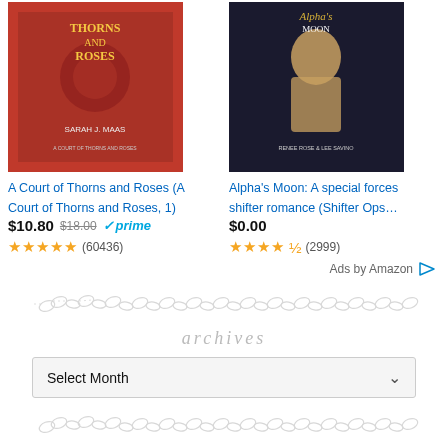[Figure (photo): Book cover for A Court of Thorns and Roses by Sarah J. Maas - red cover with roses]
[Figure (photo): Book cover for Alpha's Moon: A special forces shifter romance by Renee Rose & Lee Savino]
A Court of Thorns and Roses (A Court of Thorns and Roses, 1)
Alpha's Moon: A special forces shifter romance (Shifter Ops…)
$10.80 $18.00 ✓prime
$0.00
★★★★★ (60436)
★★★★½ (2999)
Ads by Amazon
[Figure (illustration): Decorative divider with small oval/chain link ornamental pattern in light gray]
archives
Select Month
[Figure (illustration): Decorative divider with small oval/chain link ornamental pattern in light gray]